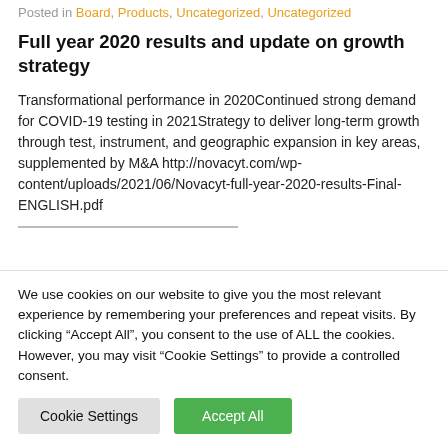Posted in Board, Products, Uncategorized, Uncategorized
Full year 2020 results and update on growth strategy
Transformational performance in 2020Continued strong demand for COVID-19 testing in 2021Strategy to deliver long-term growth through test, instrument, and geographic expansion in key areas, supplemented by M&A http://novacyt.com/wp-content/uploads/2021/06/Novacyt-full-year-2020-results-Final-ENGLISH.pdf
We use cookies on our website to give you the most relevant experience by remembering your preferences and repeat visits. By clicking “Accept All”, you consent to the use of ALL the cookies. However, you may visit “Cookie Settings” to provide a controlled consent.